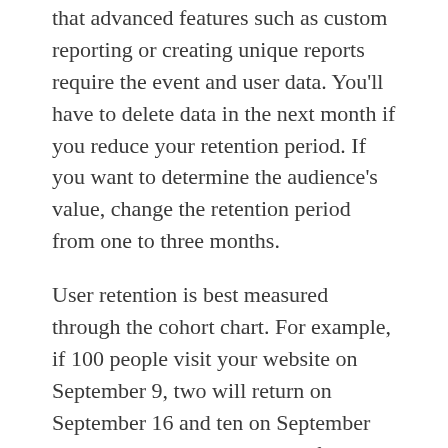that advanced features such as custom reporting or creating unique reports require the event and user data. You'll have to delete data in the next month if you reduce your retention period. If you want to determine the audience's value, change the retention period from one to three months.
User retention is best measured through the cohort chart. For example, if 100 people visit your website on September 9, two will return on September 16 and ten on September 10. This will show you how often people return to your website and how many users have been added. To understand how long a user has been on your site, you should track the number of visitors who come to your website through paid ads and organic search. Google Analytics will help you figure out how many visitors are returning to